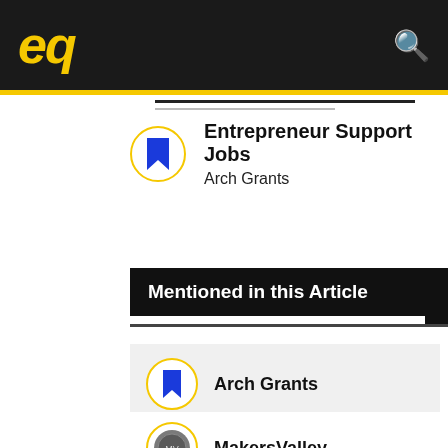eq
Entrepreneur Support Jobs
Arch Grants
Mentioned in this Article
Arch Grants
MakersValley